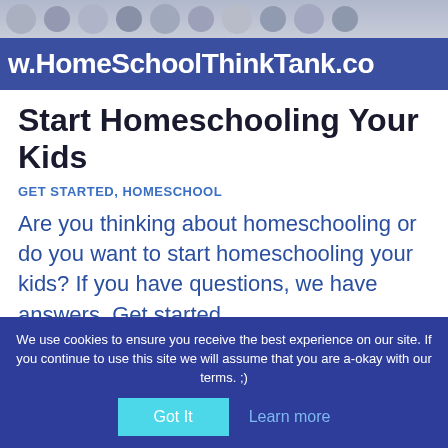[Figure (photo): Top of a website screenshot showing a photo banner of people and a blue banner with the site URL: w.HomeSchoolThinkTank.co]
Start Homeschooling Your Kids
GET STARTED, HOMESCHOOL
Are you thinking about homeschooling or do you want to start homeschooling your kids? If you have questions, we have answers. Get started...
We use cookies to ensure you receive the best experience on our site. If you continue to use this site we will assume that you are a-okay with our terms. ;) Got It  Learn more